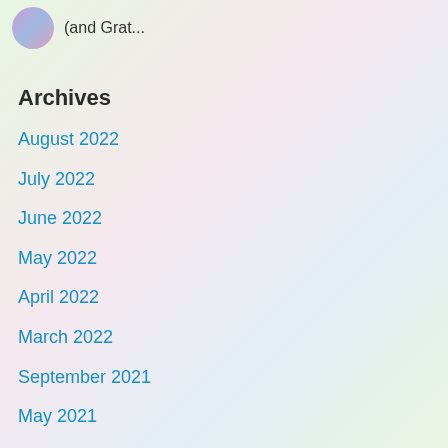[Figure (photo): Small circular avatar photo of a person, partially visible at top left]
(and Grat...
Archives
August 2022
July 2022
June 2022
May 2022
April 2022
March 2022
September 2021
May 2021
April 2021
March 2021